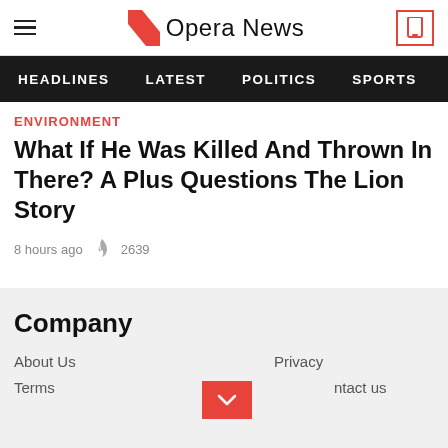Opera News
HEADLINES   LATEST   POLITICS   SPORTS
ENVIRONMENT
What If He Was Killed And Thrown In There? A Plus Questions The Lion Story
8 hours ago  2639
Company
About Us
Terms
Privacy
Contact us